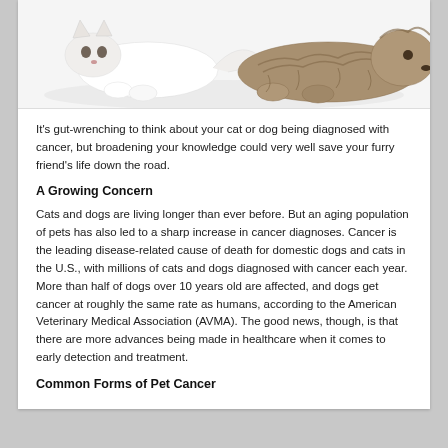[Figure (photo): A cat and dog lying together on a white background, viewed from above/side angle showing their bodies and paws.]
It's gut-wrenching to think about your cat or dog being diagnosed with cancer, but broadening your knowledge could very well save your furry friend's life down the road.
A Growing Concern
Cats and dogs are living longer than ever before. But an aging population of pets has also led to a sharp increase in cancer diagnoses. Cancer is the leading disease-related cause of death for domestic dogs and cats in the U.S., with millions of cats and dogs diagnosed with cancer each year. More than half of dogs over 10 years old are affected, and dogs get cancer at roughly the same rate as humans, according to the American Veterinary Medical Association (AVMA). The good news, though, is that there are more advances being made in healthcare when it comes to early detection and treatment.
Common Forms of Pet Cancer